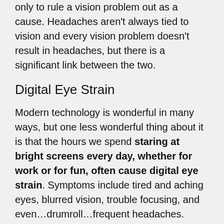only to rule a vision problem out as a cause. Headaches aren't always tied to vision and every vision problem doesn't result in headaches, but there is a significant link between the two.
Digital Eye Strain
Modern technology is wonderful in many ways, but one less wonderful thing about it is that the hours we spend staring at bright screens every day, whether for work or for fun, often cause digital eye strain. Symptoms include tired and aching eyes, blurred vision, trouble focusing, and even…drumroll…frequent headaches.
Digital eye strain doesn't come exclusively from screens, either. An untreated vision problem like farsightedness (hyperopia), age-related farsightedness (presbyopia), or astigmatism can